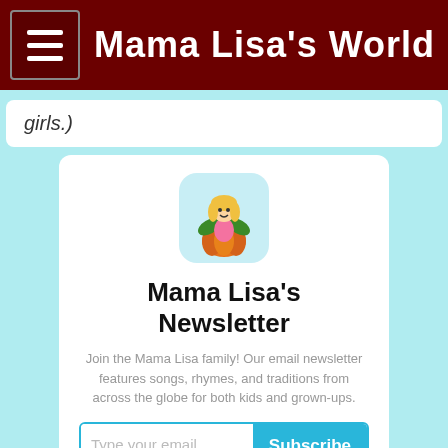Mama Lisa's World
girls.)
[Figure (illustration): Mama Lisa mascot: blonde girl sitting on a pumpkin with green plants, on a light blue rounded square background]
Mama Lisa's Newsletter
Join the Mama Lisa family! Our email newsletter features songs, rhymes, and traditions from across the globe for both kids and grown-ups.
Type your email... Subscribe
substack